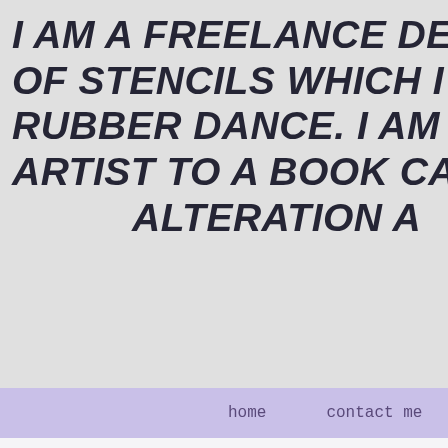I AM A FREELANCE DESIGNER, MIXED M OF STENCILS WHICH I SELL IN MY SHOP RUBBER DANCE. I AM ALSO REGULARL ARTIST TO A BOOK CALLED LEARNING ALTERATION A
home   contact me
SATURDAY, 4 JUL
A LITTLE DIFFERENT FOR A SA
Morning you crafty lot, and welcome! How are yo your weekend.
Did you have thunder storms last? We did here